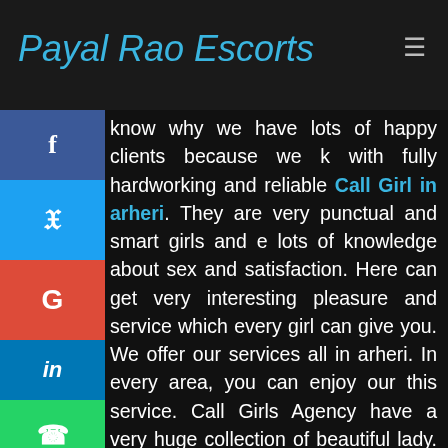Payal Rao Escorts
know why we have lots of happy clients because we k with fully hardworking and reliable Call Girl in arheri. They are very punctual and smart girls and e lots of knowledge about sex and satisfaction. Here can get very interesting pleasure and service which every girl can give you. We offer our services all in arheri. In every area, you can enjoy our this service. Call Girls Agency have a very huge collection of beautiful lady. Here each and every girl are very nted and an expert in this work. They know how to their work and how to make happy by their service. These sophisticated girls are waiting for you to make